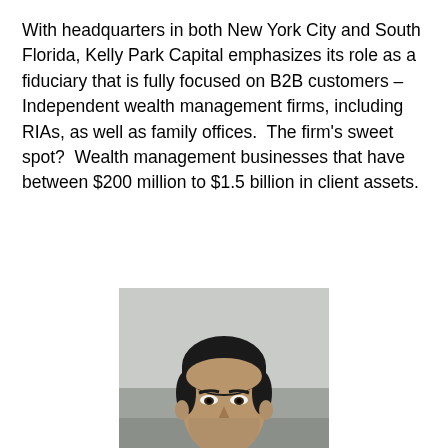With headquarters in both New York City and South Florida, Kelly Park Capital emphasizes its role as a fiduciary that is fully focused on B2B customers – Independent wealth management firms, including RIAs, as well as family offices.  The firm's sweet spot?  Wealth management businesses that have between $200 million to $1.5 billion in client assets.
[Figure (photo): Portrait photo of Sean Westley, a man in a dark suit with a tie, photographed outdoors with a blurred background.]
Sean Westley
President, Kelly Park Capital